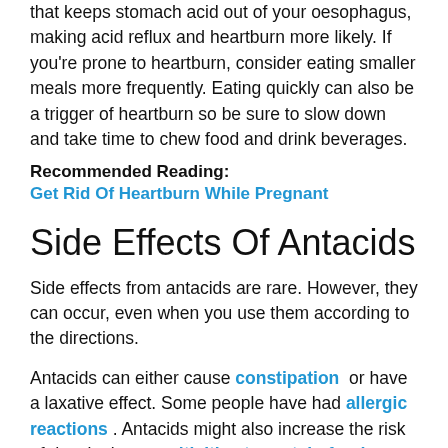that keeps stomach acid out of your oesophagus, making acid reflux and heartburn more likely. If you're prone to heartburn, consider eating smaller meals more frequently. Eating quickly can also be a trigger of heartburn so be sure to slow down and take time to chew food and drink beverages.
Recommended Reading:
Get Rid Of Heartburn While Pregnant
Side Effects Of Antacids
Side effects from antacids are rare. However, they can occur, even when you use them according to the directions.
Antacids can either cause constipation or have a laxative effect. Some people have had allergic reactions . Antacids might also increase the risk of developing sensitivities to certain foods